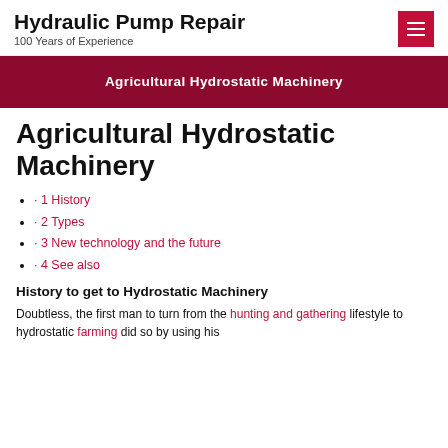Hydraulic Pump Repair
100 Years of Experience
Agricultural Hydrostatic Machinery
Agricultural Hydrostatic Machinery
· 1 History
· 2 Types
· 3 New technology and the future
· 4 See also
History to get to Hydrostatic Machinery
Doubtless, the first man to turn from the hunting and gathering lifestyle to hydrostatic farming did so by using his